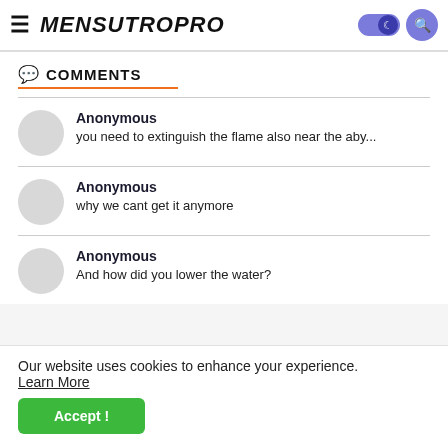MENSUTROPRO
COMMENTS
Anonymous
you need to extinguish the flame also near the aby...
Anonymous
why we cant get it anymore
Anonymous
And how did you lower the water?
Our website uses cookies to enhance your experience. Learn More
Accept !